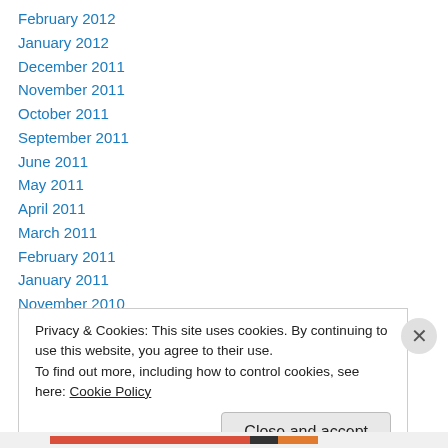February 2012
January 2012
December 2011
November 2011
October 2011
September 2011
June 2011
May 2011
April 2011
March 2011
February 2011
January 2011
November 2010
Privacy & Cookies: This site uses cookies. By continuing to use this website, you agree to their use.
To find out more, including how to control cookies, see here: Cookie Policy